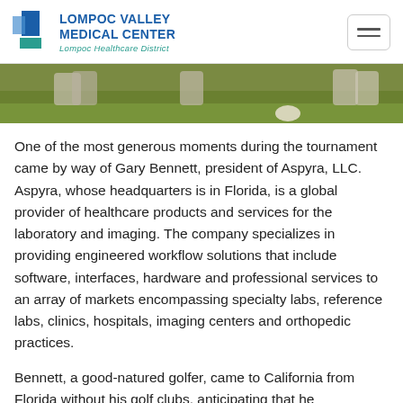LOMPOC VALLEY MEDICAL CENTER — Lompoc Healthcare District
[Figure (photo): Close-up photo of golf shoes and a golf ball on a green fairway lawn.]
One of the most generous moments during the tournament came by way of Gary Bennett, president of Aspyra, LLC. Aspyra, whose headquarters is in Florida, is a global provider of healthcare products and services for the laboratory and imaging. The company specializes in providing engineered workflow solutions that include software, interfaces, hardware and professional services to an array of markets encompassing specialty labs, reference labs, clinics, hospitals, imaging centers and orthopedic practices.
Bennett, a good-natured golfer, came to California from Florida without his golf clubs, anticipating that he